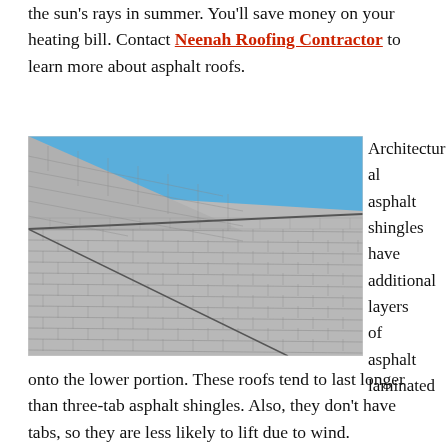the sun's rays in summer. You'll save money on your heating bill. Contact Neenah Roofing Contractor to learn more about asphalt roofs.
[Figure (photo): Close-up photograph of architectural asphalt shingles on a roof against a blue sky, showing two roof planes meeting at a ridge line.]
Architectural asphalt shingles have additional layers of asphalt laminated onto the lower portion. These roofs tend to last longer than three-tab asphalt shingles. Also, they don't have tabs, so they are less likely to lift due to wind.